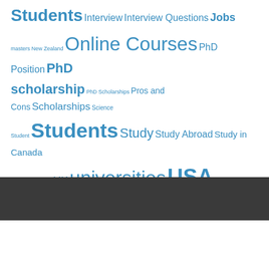[Figure (other): Tag cloud with education-related terms in varying font sizes, all in blue. Terms include: Students, Interview, Interview Questions, Jobs, masters, New Zealand, Online Courses, PhD Position, PhD scholarship, PhD Scholarships, Pros and Cons, Scholarships, Science, Student, Students, Study, Study Abroad, Study in Canada, Study in the USA, UK, universities, USA, visa]
[Figure (other): Dark grey horizontal bar/banner spanning full width]